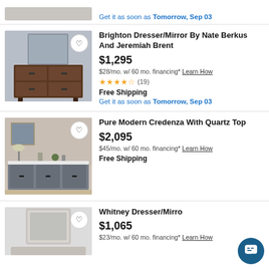Get it as soon as Tomorrow, Sep 03
[Figure (photo): Brighton Dresser/Mirror product photo - dark walnut dresser with attached mirror]
Brighton Dresser/Mirror By Nate Berkus And Jeremiah Brent
$1,295
$28/mo. w/ 60 mo. financing* Learn How
★★★★☆ (19)
Free Shipping
Get it as soon as Tomorrow, Sep 03
[Figure (photo): Pure Modern Credenza with Quartz Top product photo - grey credenza with white quartz top]
Pure Modern Credenza With Quartz Top
$2,095
$45/mo. w/ 60 mo. financing* Learn How
Free Shipping
[Figure (photo): Whitney Dresser/Mirror product photo - white/light grey dresser with mirror]
Whitney Dresser/Mirro
$1,065
$23/mo. w/ 60 mo. financing* Learn How